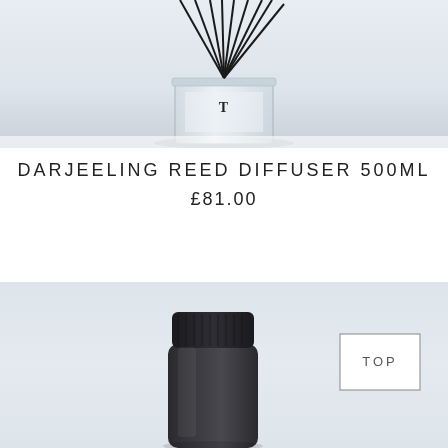[Figure (photo): Reed diffuser product photo — glass jar with black reed sticks fanning out, white/grey background, label with T logo on glass]
DARJEELING REED DIFFUSER 500ML
£81.00
[Figure (photo): Dark glass refill bottle with black cap, light blue-grey background, 'TOP' label in rectangle on right]